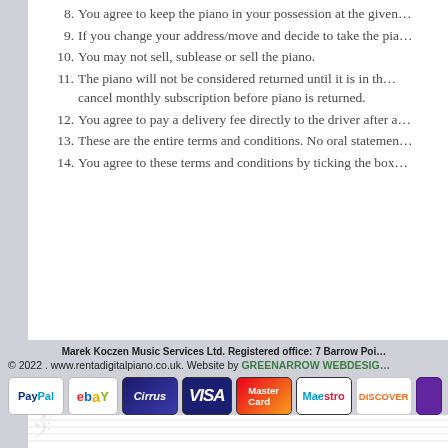8. You agree to keep the piano in your possession at the given address.
9. If you change your address/move and decide to take the piano with you...
10. You may not sell, sublease or sell the piano.
11. The piano will not be considered returned until it is in the... cancel monthly subscription before piano is returned.
12. You agree to pay a delivery fee directly to the driver after a...
13. These are the entire terms and conditions. No oral statements...
14. You agree to these terms and conditions by ticking the box...
[Figure (illustration): Music notation watermark/background decoration showing faded sheet music lines and notes]
Marek Koczen Music Services Ltd. Registered office: 7 Barrow Point...
© 2022 . www.rentadigitalpiano.co.uk. Website by GREENARROW WEBDESIGN
[Figure (infographic): Payment method logos: PayPal, eBay, Cirrus, VISA, MasterCard, Maestro, DISCOVER, and one partially visible purple badge]